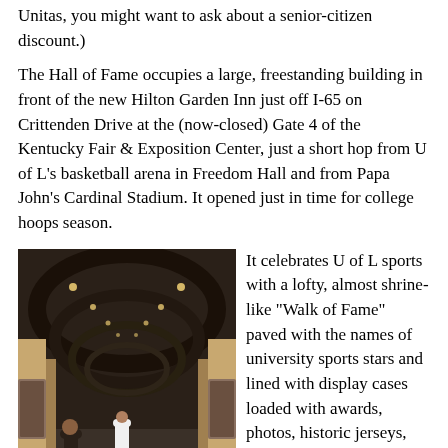Unitas, you might want to ask about a senior-citizen discount.)
The Hall of Fame occupies a large, freestanding building in front of the new Hilton Garden Inn just off I-65 on Crittenden Drive at the (now-closed) Gate 4 of the Kentucky Fair & Exposition Center, just a short hop from U of L's basketball arena in Freedom Hall and from Papa John's Cardinal Stadium. It opened just in time for college hoops season.
[Figure (photo): Interior hallway of the U of L Hall of Fame with arched ceiling, checkered floor, display cases along the walls, and people walking through]
It celebrates U of L sports with a lofty, almost shrine-like "Walk of Fame" paved with the names of university sports stars and lined with display cases loaded with awards, photos, historic jerseys, game balls, bats, hockey sticks, golf clubs and lots more Cardinal memorabilia. There's also a gift shop where you can buy anything from a gimme cap to a stadium jacket, as long as it's Cardinal red and black.
There's nothing fancy about this place, which somewhat resembles a large, improved manifestation of